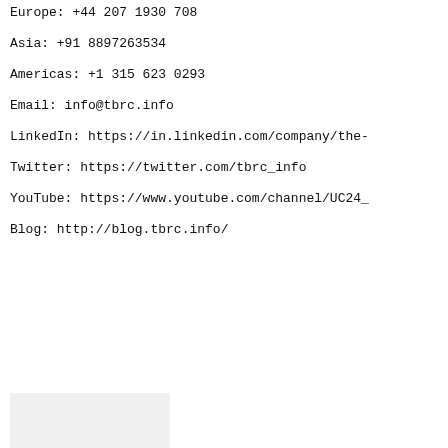Europe: +44 207 1930 708
Asia: +91 8897263534
Americas: +1 315 623 0293
Email: info@tbrc.info
LinkedIn: https://in.linkedin.com/company/the-
Twitter: https://twitter.com/tbrc_info
YouTube: https://www.youtube.com/channel/UC24_
Blog: http://blog.tbrc.info/